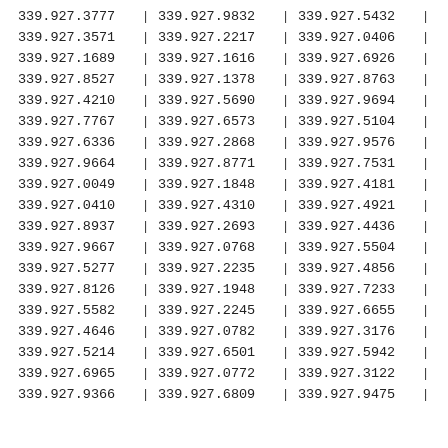| 339.927.3777 | | | 339.927.9832 | | | 339.927.5432 | | |
| 339.927.3571 | | | 339.927.2217 | | | 339.927.0406 | | |
| 339.927.1689 | | | 339.927.1616 | | | 339.927.6926 | | |
| 339.927.8527 | | | 339.927.1378 | | | 339.927.8763 | | |
| 339.927.4210 | | | 339.927.5690 | | | 339.927.9694 | | |
| 339.927.7767 | | | 339.927.6573 | | | 339.927.5104 | | |
| 339.927.6336 | | | 339.927.2868 | | | 339.927.9576 | | |
| 339.927.9664 | | | 339.927.8771 | | | 339.927.7531 | | |
| 339.927.0049 | | | 339.927.1848 | | | 339.927.4181 | | |
| 339.927.0410 | | | 339.927.4310 | | | 339.927.4921 | | |
| 339.927.8937 | | | 339.927.2693 | | | 339.927.4436 | | |
| 339.927.9667 | | | 339.927.0768 | | | 339.927.5504 | | |
| 339.927.5277 | | | 339.927.2235 | | | 339.927.4856 | | |
| 339.927.8126 | | | 339.927.1948 | | | 339.927.7233 | | |
| 339.927.5582 | | | 339.927.2245 | | | 339.927.6655 | | |
| 339.927.4646 | | | 339.927.0782 | | | 339.927.3176 | | |
| 339.927.5214 | | | 339.927.6501 | | | 339.927.5942 | | |
| 339.927.6965 | | | 339.927.0772 | | | 339.927.3122 | | |
| 339.927.9366 | | | 339.927.6809 | | | 339.927.9475 | | |